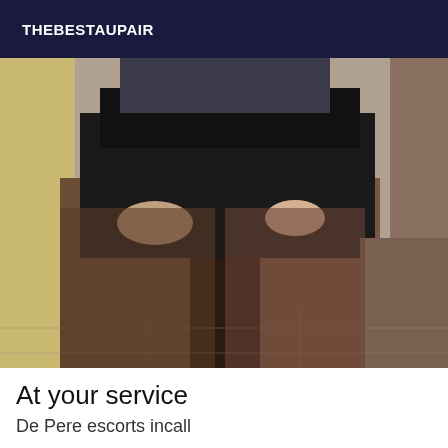THEBESTAUPAIR
[Figure (photo): Close-up photo of a person wearing a short black skirt and dark stockings/tights, with hands on hips, seated position, tiled floor visible in background.]
At your service
De Pere escorts incall